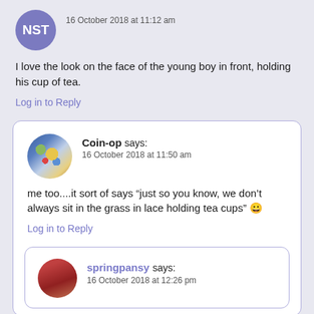[Figure (illustration): Purple circle avatar with white letters NST]
16 October 2018 at 11:12 am
I love the look on the face of the young boy in front, holding his cup of tea.
Log in to Reply
[Figure (illustration): Circular avatar with decorative blue and gold tile pattern for user Coin-op]
Coin-op says:
16 October 2018 at 11:50 am
me too....it sort of says “just so you know, we don’t always sit in the grass in lace holding tea cups” 😀
Log in to Reply
[Figure (photo): Circular avatar photo of a person with reddish/brown tones for user springpansy]
springpansy says:
16 October 2018 at 12:26 pm